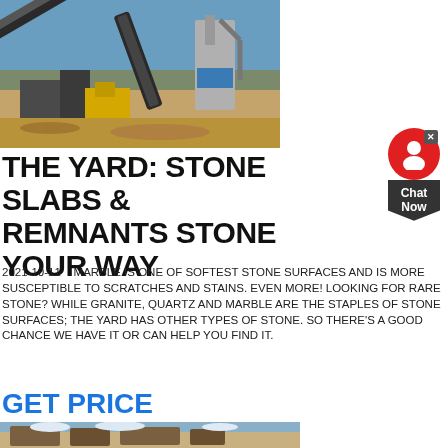[Figure (photo): Industrial stone crushing/processing equipment outdoors on a sandy/earthen site with conveyor belts and machinery.]
THE YARD: STONE SLABS & REMNANTS STONE YOUR WAY
2021-10-11   MARBLE IS ONE OF SOFTEST STONE SURFACES AND IS MORE SUSCEPTIBLE TO SCRATCHES AND STAINS. EVEN MORE! LOOKING FOR RARE STONE? WHILE GRANITE, QUARTZ AND MARBLE ARE THE STAPLES OF STONE SURFACES; THE YARD HAS OTHER TYPES OF STONE. SO THERE'S A GOOD CHANCE WE HAVE IT OR CAN HELP YOU FIND IT.
GET PRICE
[Figure (photo): Outdoor scene with buildings and blue sky, partially visible at bottom of page.]